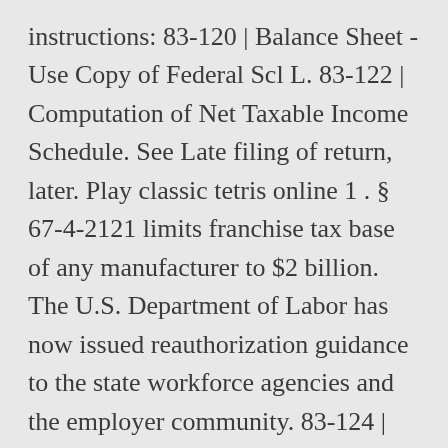instructions: 83-120 | Balance Sheet - Use Copy of Federal Scl L. 83-122 | Computation of Net Taxable Income Schedule. See Late filing of return, later. Play classic tetris online 1 . § 67-4-2121 limits franchise tax base of any manufacturer to $2 billion. The U.S. Department of Labor has now issued reauthorization guidance to the state workforce agencies and the employer community. 83-124 | Direct Accounting Income Statement. By state law, all Alabama corporations, limited liability companies, limited liability partnerships, and limited partnerships are required to file an Alabama Business Privilege Tax Return each year. See